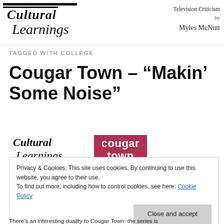[Figure (logo): Cultural Learnings script logo in black, with stylized cursive text]
Television Criticism by Myles McNutt
TAGGED WITH COLLEGE
Cougar Town – “Makin’ Some Noise”
[Figure (logo): Cultural Learnings script logo (smaller, inline)]
[Figure (logo): Cougar Town red badge logo with white bold text]
Privacy & Cookies: This site uses cookies. By continuing to use this website, you agree to their use.
To find out more, including how to control cookies, see here: Cookie Policy
Close and accept
There’s an interesting duality to Cougar Town: the series is